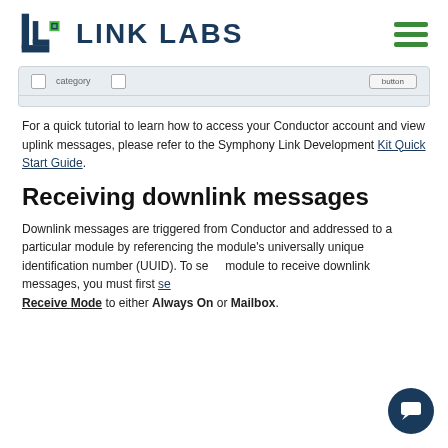LINK LABS
[Figure (screenshot): Partial screenshot of a UI with checkboxes and a button, shown in a light gray bar]
For a quick tutorial to learn how to access your Conductor account and view uplink messages, please refer to the Symphony Link Development Kit Quick Start Guide.
Receiving downlink messages
Downlink messages are triggered from Conductor and addressed to a particular module by referencing the module's universally unique identification number (UUID). To set a module to receive downlink messages, you must first set Receive Mode to either Always On or Mailbox.